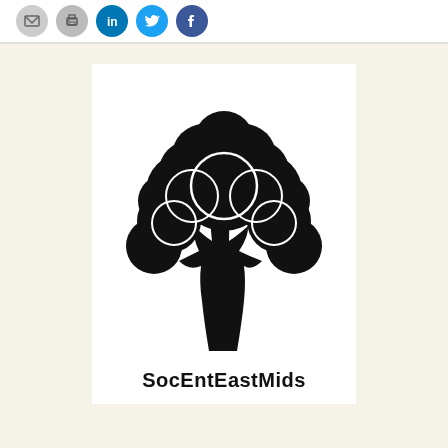[Figure (logo): Social media share icons row: grey email icon, grey print icon, LinkedIn blue circle, Twitter blue circle, Facebook dark blue circle]
[Figure (logo): SocEntEastMids logo: black tree silhouette with rounded canopy clusters and trunk, with text 'SocEntEastMids' in bold below, on white card background set against cream/beige background]